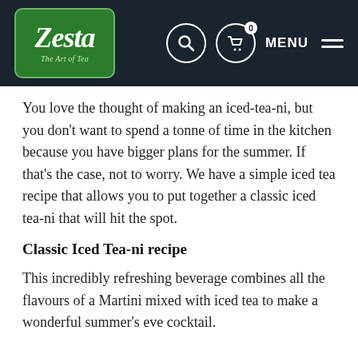Zesta – The Art of Tea | Navigation bar with search, cart (0), and menu
You love the thought of making an iced-tea-ni, but you don't want to spend a tonne of time in the kitchen because you have bigger plans for the summer. If that's the case, not to worry. We have a simple iced tea recipe that allows you to put together a classic iced tea-ni that will hit the spot.
Classic Iced Tea-ni recipe
This incredibly refreshing beverage combines all the flavours of a Martini mixed with iced tea to make a wonderful summer's eve cocktail.